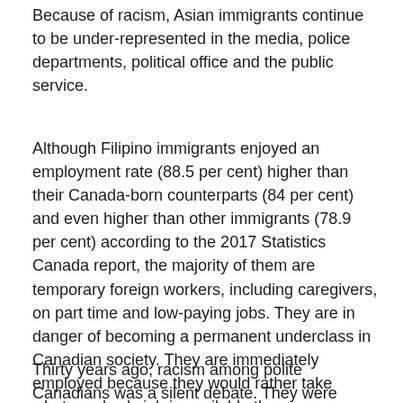Because of racism, Asian immigrants continue to be under-represented in the media, police departments, political office and the public service.
Although Filipino immigrants enjoyed an employment rate (88.5 per cent) higher than their Canada-born counterparts (84 per cent) and even higher than other immigrants (78.9 per cent) according to the 2017 Statistics Canada report, the majority of them are temporary foreign workers, including caregivers, on part time and low-paying jobs. They are in danger of becoming a permanent underclass in Canadian society. They are immediately employed because they would rather take whatever lowly job is available than go on welfare, which to a Filipino is a dishonour to the whole family.
Thirty years ago, racism among polite Canadians was a silent debate. They were reticent to discuss race and